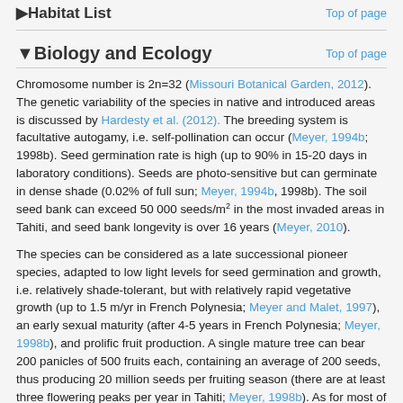▶Habitat List
▼Biology and Ecology
Chromosome number is 2n=32 (Missouri Botanical Garden, 2012). The genetic variability of the species in native and introduced areas is discussed by Hardesty et al. (2012). The breeding system is facultative autogamy, i.e. self-pollination can occur (Meyer, 1994b; 1998b). Seed germination rate is high (up to 90% in 15-20 days in laboratory conditions). Seeds are photo-sensitive but can germinate in dense shade (0.02% of full sun; Meyer, 1994b, 1998b). The soil seed bank can exceed 50 000 seeds/m² in the most invaded areas in Tahiti, and seed bank longevity is over 16 years (Meyer, 2010).
The species can be considered as a late successional pioneer species, adapted to low light levels for seed germination and growth, i.e. relatively shade-tolerant, but with relatively rapid vegetative growth (up to 1.5 m/yr in French Polynesia; Meyer and Malet, 1997), an early sexual maturity (after 4-5 years in French Polynesia; Meyer, 1998b), and prolific fruit production. A single mature tree can bear 200 panicles of 500 fruits each, containing an average of 200 seeds, thus producing 20 million seeds per fruiting season (there are at least three flowering peaks per year in Tahiti; Meyer, 1998b). As for most of the species belonging to this particular functional group, M.